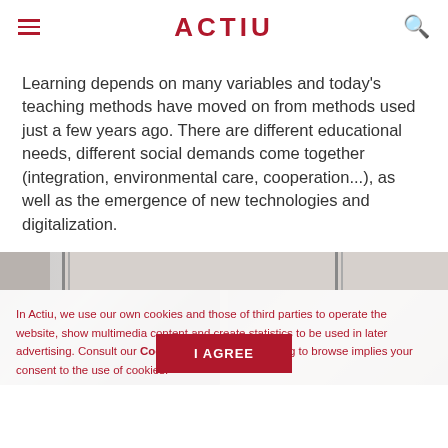ACTIU
Learning depends on many variables and today's teaching methods have moved on from methods used just a few years ago. There are different educational needs, different social demands come together (integration, environmental care, cooperation...), as well as the emergence of new technologies and digitalization.
[Figure (photo): Partial view of an educational/office environment image strip]
In Actiu, we use our own cookies and those of third parties to operate the website, show multimedia content and create statistics to be used in later advertising. Consult our Cookies policy, as continuing to browse implies your consent to the use of cookies.
[Figure (photo): Background photo of people in an educational or office setting, partially visible behind cookie consent overlay]